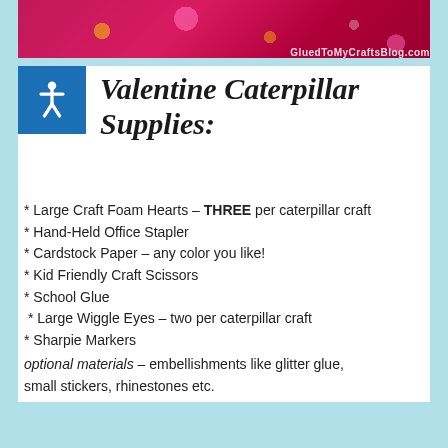[Figure (photo): Valentine-themed craft photo strip with pink/magenta background, gold glitter letters, hearts, and 'GluedToMyCraftsBlog.com' watermark]
Valentine Caterpillar Supplies:
* Large Craft Foam Hearts – THREE per caterpillar craft
* Hand-Held Office Stapler
* Cardstock Paper – any color you like!
* Kid Friendly Craft Scissors
* School Glue
* Large Wiggle Eyes – two per caterpillar craft
* Sharpie Markers
optional materials – embellishments like glitter glue, small stickers, rhinestones etc.